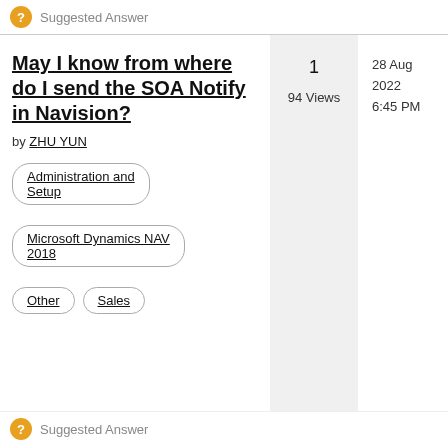Suggested Answer
May I know from where do I send the SOA Notify in Navision? by ZHU YUN
1
94 Views
28 Aug 2022
6:45 PM
Administration and Setup
Microsoft Dynamics NAV 2018
Other
Sales
Suggested Answer